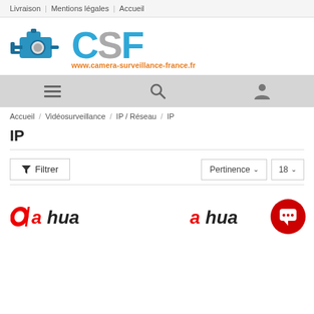Livraison | Mentions légales | Accueil
[Figure (logo): CSF camera-surveillance-france.fr logo with security camera icon, large blue/grey CSF letters and orange URL text]
[Figure (infographic): Toolbar with hamburger menu icon, search icon, and user account icon]
Accueil / Vidéosurveillance / IP / Réseau / IP
IP
Filtrer | Pertinence ∨ | 18 ∨
[Figure (logo): Dahua brand logo (left product card)]
[Figure (logo): Dahua brand logo (right product card)]